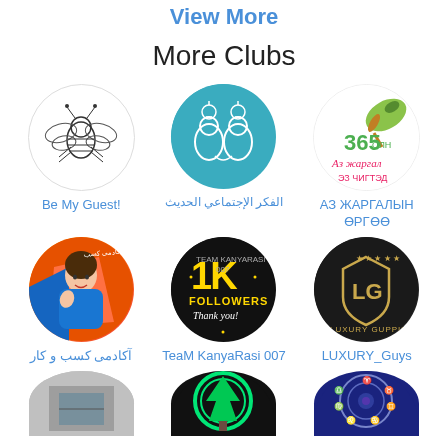View More
More Clubs
[Figure (logo): Be My Guest! club logo - bee illustration]
Be My Guest!
[Figure (logo): الفكر الاجتماعي الحديث - two heads with lightbulbs on teal circle]
الفكر الإجتماعي الحديث
[Figure (logo): АЗ ЖАРГАЛЫН ӨРГӨӨ - 365 days logo with avocado]
АЗ ЖАРГАЛЫН ӨРГӨӨ
[Figure (photo): آکادمی کسب و کار - woman with orange background]
آکادمی کسب و کار
[Figure (logo): TeaM KanyaRasi 007 - 1K Followers dark logo]
TeaM KanyaRasi 007
[Figure (logo): LUXURY_Guys - LG shield logo dark]
LUXURY_Guys
[Figure (illustration): Partial club logo row 3 left - gray]
[Figure (illustration): Partial club logo row 3 center - green tree]
[Figure (illustration): Partial club logo row 3 right - zodiac blue]